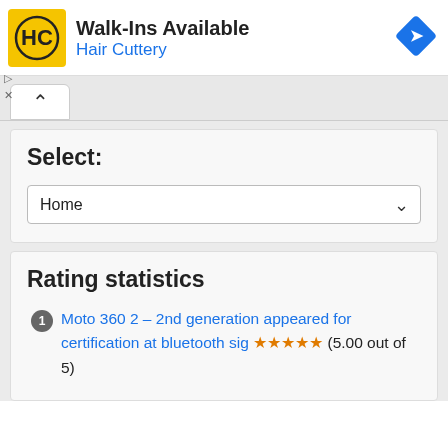[Figure (other): Hair Cuttery advertisement banner with yellow HC logo, 'Walk-Ins Available' heading, 'Hair Cuttery' subtitle in blue, and a blue diamond navigation arrow icon on the right]
Select:
Home
Rating statistics
1 Moto 360 2 – 2nd generation appeared for certification at bluetooth sig ★★★★★ (5.00 out of 5)